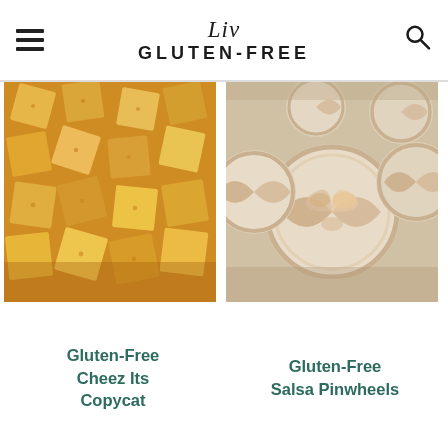Liv GLUTEN-FREE
[Figure (photo): Close-up of golden square cheese crackers (Cheez-It style) piled together]
Gluten-Free Cheez Its Copycat
[Figure (photo): Close-up of sliced pinwheel wraps with creamy salsa filling]
Gluten-Free Salsa Pinwheels